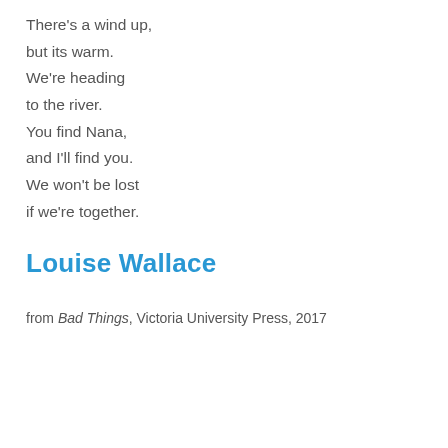There's a wind up,
but its warm.
We're heading
to the river.
You find Nana,
and I'll find you.
We won't be lost
if we're together.
Louise Wallace
from Bad Things, Victoria University Press, 2017